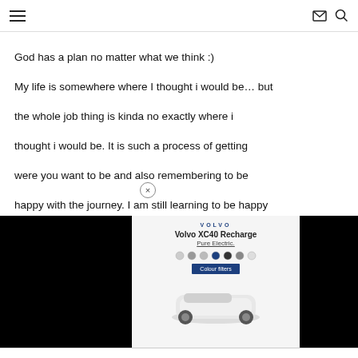≡  ✉ 🔍
God has a plan no matter what we think :)
My life is somewhere where I thought i would be… but the whole job thing is kinda no exactly where i thought i would be. It is such a process of getting were you want to be and also remembering to be happy with the journey. I am still learning to be happy and remind m[obscured by ad]
i have to live[obscured by ad]
Thanks for s[obscured by ad]
awesome da[obscured by ad]
[Figure (screenshot): Volvo XC40 Recharge Pure Electric advertisement overlay on the page, partially obscured by black blocks on left and right]